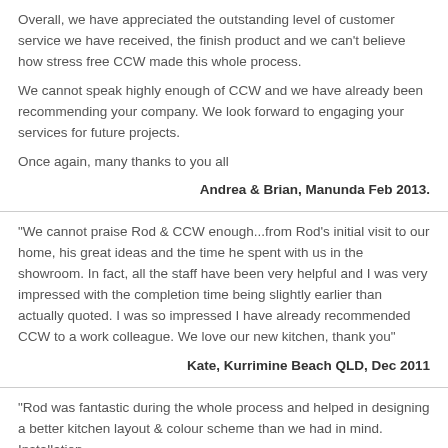Overall, we have appreciated the outstanding level of customer service we have received, the finish product and we can't believe how stress free CCW made this whole process.

We cannot speak highly enough of CCW and we have already been recommending your company. We look forward to engaging your services for future projects.

Once again, many thanks to you all
Andrea & Brian, Manunda Feb 2013.
"We cannot praise Rod & CCW enough...from Rod's initial visit to our home, his great ideas and the time he spent with us in the showroom. In fact, all the staff have been very helpful and I was very impressed with the completion time being slightly earlier than actually quoted. I was so impressed I have already recommended CCW to a work colleague. We love our new kitchen, thank you"
Kate, Kurrimine Beach QLD, Dec 2011
"Rod was fantastic during the whole process and helped in designing a better kitchen layout & colour scheme than we had in mind. Installation